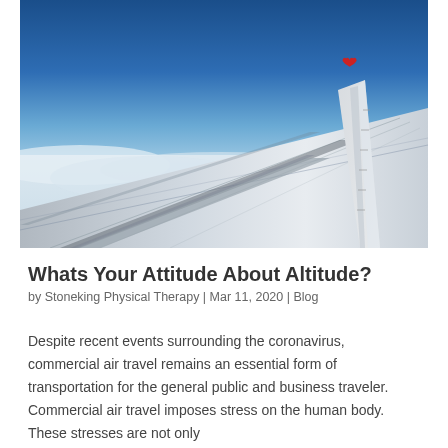[Figure (photo): View from airplane window showing the aircraft wing with a red heart logo on the winglet, blue sky above and white clouds below]
Whats Your Attitude About Altitude?
by Stoneking Physical Therapy | Mar 11, 2020 | Blog
Despite recent events surrounding the coronavirus, commercial air travel remains an essential form of transportation for the general public and business traveler. Commercial air travel imposes stress on the human body. These stresses are not only